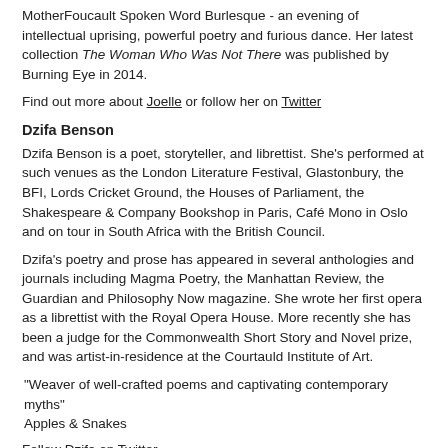MotherFoucault Spoken Word Burlesque - an evening of intellectual uprising, powerful poetry and furious dance. Her latest collection The Woman Who Was Not There was published by Burning Eye in 2014.
Find out more about Joelle or follow her on Twitter
Dzifa Benson
Dzifa Benson is a poet, storyteller, and librettist. She’s performed at such venues as the London Literature Festival, Glastonbury, the BFI, Lords Cricket Ground, the Houses of Parliament, the Shakespeare & Company Bookshop in Paris, Café Mono in Oslo and on tour in South Africa with the British Council.
Dzifa’s poetry and prose has appeared in several anthologies and journals including Magma Poetry, the Manhattan Review, the Guardian and Philosophy Now magazine. She wrote her first opera as a librettist with the Royal Opera House. More recently she has been a judge for the Commonwealth Short Story and Novel prize, and was artist-in-residence at the Courtauld Institute of Art.
“Weaver of well-crafted poems and captivating contemporary myths” Apples & Snakes
Follow Dzifa on Twitter
Ro...